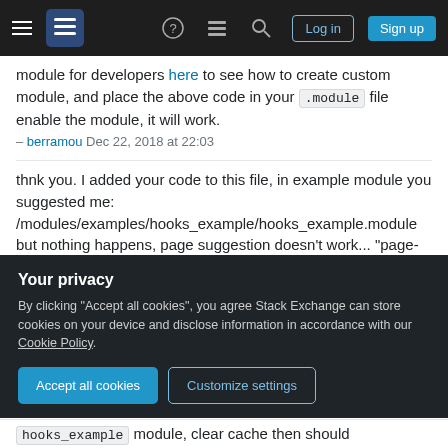Stack Exchange navigation bar with hamburger menu, logo, help, chat, search, Log in, Sign up buttons
module for developers here to see how to create custom module, and place the above code in your .module file enable the module, it will work.
– berramou Dec 22, 2018 at 22:03
thnk you. I added your code to this file, in example module you suggested me: /modules/examples/hooks_example/hooks_example.module but nothing happens, page suggestion doesn't work... "page-views-view.html.twig" doesn't appear in theme suggestion. Is correcto to replace if (strpos($route_name, 'view') === 0) { with if (strpos($route_name, 'view') == 0) { ? anyway it doesn't work, should I try with completely new custom
Your privacy
By clicking "Accept all cookies", you agree Stack Exchange can store cookies on your device and disclose information in accordance with our Cookie Policy.
Accept all cookies   Customize settings
hooks_example module, clear cache then should